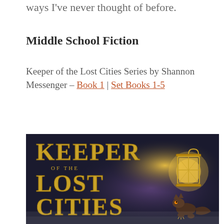ways I've never thought of before.
Middle School Fiction
Keeper of the Lost Cities Series by Shannon Messenger – Book 1 | Set Books 1-5
[Figure (illustration): Book cover of Keeper of the Lost Cities showing fantasy artwork with large golden text on dark background and a glowing lantern creature]